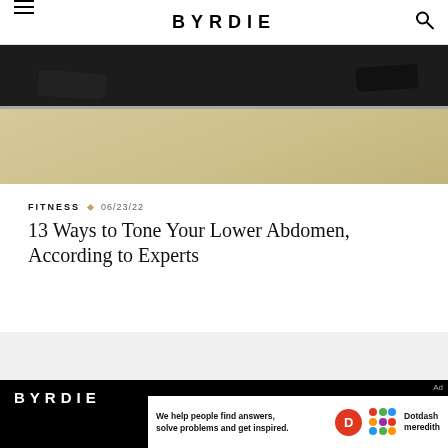BYRDIE
[Figure (photo): Cropped photo showing feet/shoes of a person on a sandy or light-colored ground, with a dark horizontal bar or surface visible]
FITNESS  •  06/23/22
13 Ways to Tone Your Lower Abdomen, According to Experts
BYRDIE — We help people find answers, solve problems and get inspired. Dotdash meredith